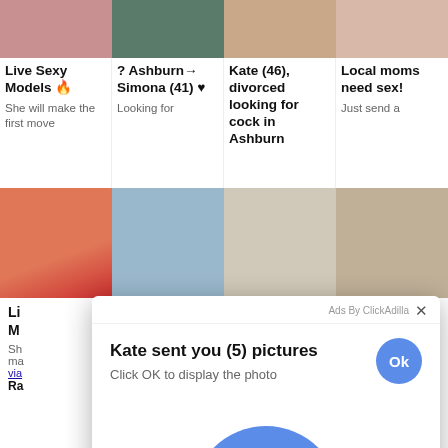[Figure (screenshot): Screenshot of adult advertisement website showing grid of adult content ads with thumbnails and text descriptions. An overlay popup dialog from ClickAdilla ad network reads 'Kate sent you (5) pictures' with 'Click OK to display the photo' and a large blue Ok button.]
Live Sexy Models 🔥
She will make the first move
? Ashburn→ Simona (41) ♥
Looking for
Kate (46), divorced looking for cock in Ashburn
Local moms need sex!
Just send a
Ads By ClickAdilla  ×
Kate sent you (5) pictures
Click OK to display the photo
Ok
Ok
a1h